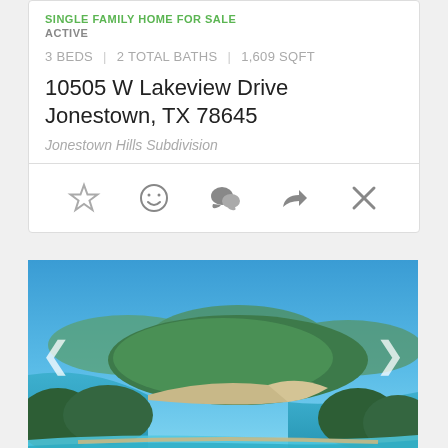SINGLE FAMILY HOME FOR SALE
ACTIVE
3 BEDS | 2 TOTAL BATHS | 1,609 SQFT
10505 W Lakeview Drive Jonestown, TX 78645
Jonestown Hills Subdivision
[Figure (illustration): Icon row with star, smiley face, speech bubble, share arrow, and X (close) buttons]
[Figure (photo): Aerial/elevated view of a lake with blue water, sandy peninsula, green forested hills, and clear blue sky. Pool edge visible in foreground.]